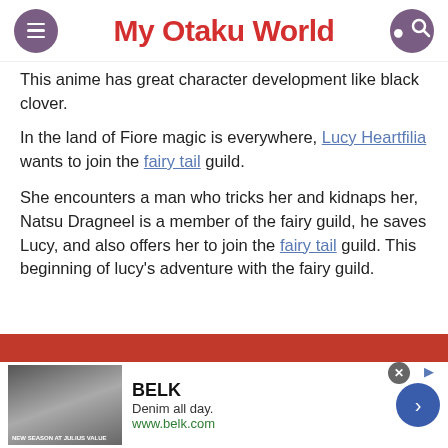My Otaku World
This anime has great character development like black clover.
In the land of Fiore magic is everywhere, Lucy Heartfilia wants to join the fairy tail guild.
She encounters a man who tricks her and kidnaps her, Natsu Dragneel is a member of the fairy guild, he saves Lucy, and also offers her to join the fairy tail guild. This beginning of lucy’s adventure with the fairy guild.
[Figure (screenshot): Advertisement banner for BELK: Denim all day. www.belk.com]